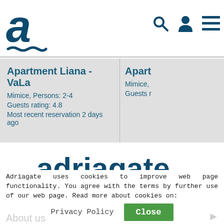adriagate logo and navigation icons
Apartment Liana - VaLa
Mimice, Persons: 2-4
Guests rating: 4.8
Most recent reservation 2 days ago
Apart
Mimice,
Guests r
[Figure (logo): Adriagate text logo in dark teal color with wave underline]
[Figure (infographic): Row of 6 social media icons: Facebook, Instagram, Blogger, Twitter, YouTube, LinkedIn — dark teal circles with white icons]
Adriagate uses cookies to improve web page functionality. You agree with the terms by further use of our web page. Read more about cookies on:
Privacy Policy
Close
About us